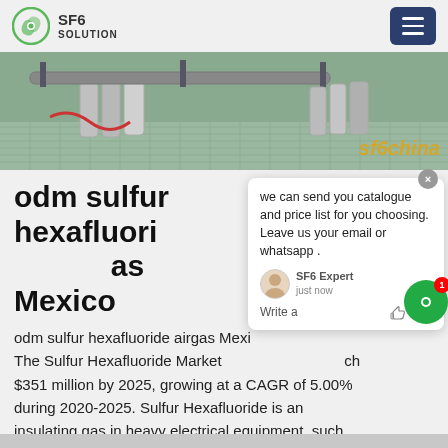SF6 SOLUTION
[Figure (photo): Hero image showing industrial SF6 gas cylinders and equipment outdoors, with 'sf6china' watermark text in orange/gold.]
odm sulfur hexafluoride airgas Mexico
odm sulfur hexafluoride airgas Mexico. The Sulfur Hexafluoride Market is expected to reach $351 million by 2025, growing at a CAGR of 5.00% during 2020-2025. Sulfur Hexafluoride is an insulating gas in heavy electrical equipment, such as high voltage cables and circuit breakers and compact
Get Price